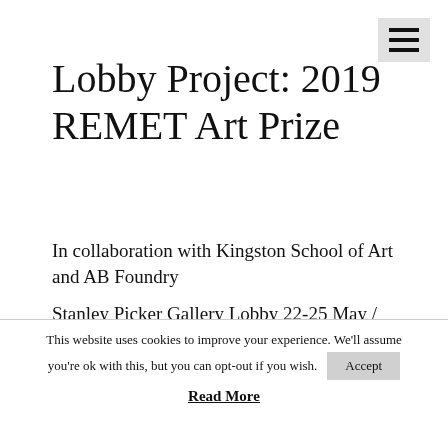Lobby Project: 2019 REMET Art Prize
In collaboration with Kingston School of Art and AB Foundry
Stanley Picker Gallery Lobby 22-25 May / Event 22 May 5-7pm / All Welcome
REMET UK is proud to be working with Kingston School of Art and AB Foundry on the 2019 REMET Art Prize.
This website uses cookies to improve your experience. We'll assume you're ok with this, but you can opt-out if you wish.
Read More